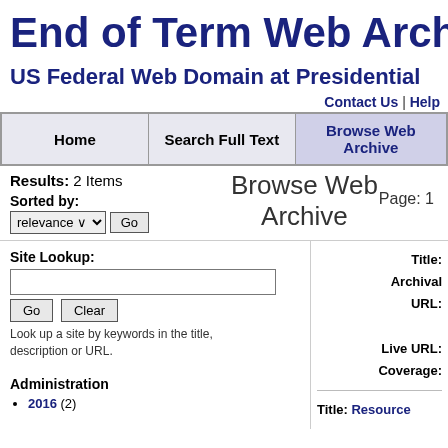End of Term Web Archive
US Federal Web Domain at Presidential Transition
Contact Us | Help
| Home | Search Full Text | Browse Web Archive |
| --- | --- | --- |
Results: 2 Items
Sorted by: relevance Go
Browse Web Archive
Page: 1
Site Lookup:
Look up a site by keywords in the title, description or URL.
Administration
2016 (2)
Title:
Archival URL:
Live URL:
Coverage:
Title: Resource...